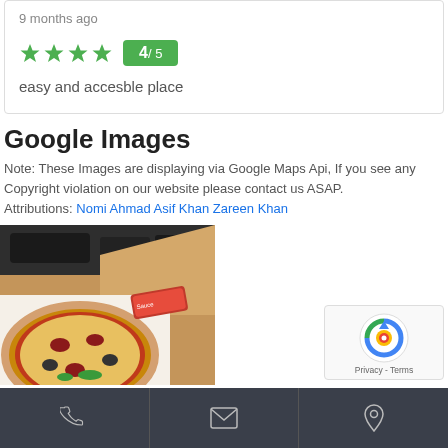9 months ago
★★★★ 4/5
easy and accesble place
Google Images
Note: These Images are displaying via Google Maps Api, If you see any Copyright violation on our website please contact us ASAP. Attributions: Nomi Ahmad Asif Khan Zareen Khan
[Figure (photo): A pizza in an open cardboard box inside a car, with a small chili/sauce packet on top of the pizza]
Phone | Email | Location icons